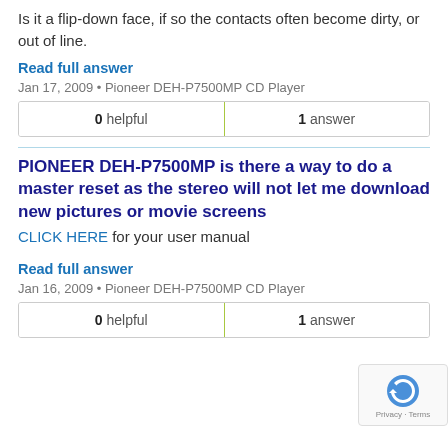Is it a flip-down face, if so the contacts often become dirty, or out of line.
Read full answer
Jan 17, 2009 • Pioneer DEH-P7500MP CD Player
| 0 helpful | 1 answer |
| --- | --- |
PIONEER DEH-P7500MP is there a way to do a master reset as the stereo will not let me download new pictures or movie screens
CLICK HERE for your user manual
Read full answer
Jan 16, 2009 • Pioneer DEH-P7500MP CD Player
| 0 helpful | 1 answer |
| --- | --- |